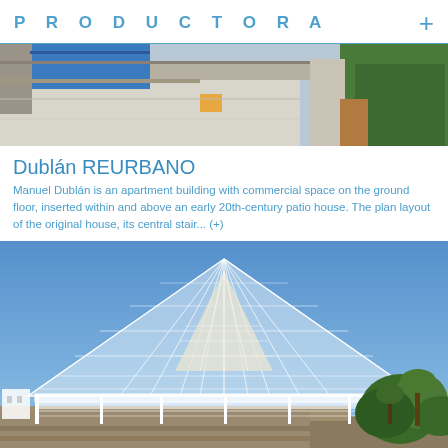PRODUCTORA
[Figure (photo): Exterior photo of apartment building with blue painted wall, concrete structure, and vegetation]
Dublán REURBANO
Manuel Dublán is an apartment building with commercial space on the ground floor, inserted within and above an early 20th-century patio house. The plan layout of the original house, its central stair... (+)
[Figure (photo): Architectural photo of a large white metal grid pyramid-shaped glass structure against a blue sky, with tropical vegetation in the background]